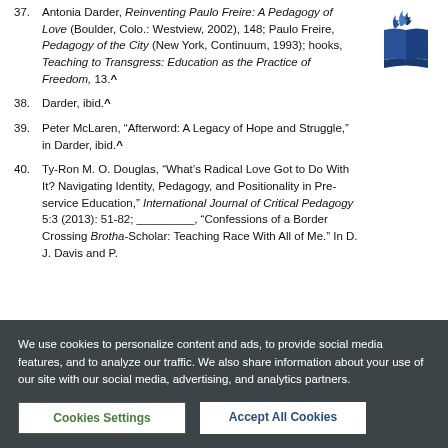[Figure (logo): Seventh-day Adventist or similar organization logo — blue flame/book motif]
37. Antonia Darder, Reinventing Paulo Freire: A Pedagogy of Love (Boulder, Colo.: Westview, 2002), 148; Paulo Freire, Pedagogy of the City (New York, Continuum, 1993); hooks, Teaching to Transgress: Education as the Practice of Freedom, 13.^
38. Darder, ibid.^
39. Peter McLaren, “Afterword: A Legacy of Hope and Struggle,” in Darder, ibid.^
40. Ty-Ron M. O. Douglas, “What’s Radical Love Got to Do With It? Navigating Identity, Pedagogy, and Positionality in Pre-service Education,” International Journal of Critical Pedagogy 5:3 (2013): 51-82; _________, “Confessions of a Border Crossing Brotha-Scholar: Teaching Race With All of Me.” In D. J. Davis and P.
We use cookies to personalize content and ads, to provide social media features, and to analyze our traffic. We also share information about your use of our site with our social media, advertising, and analytics partners.
Cookies Settings | Accept All Cookies